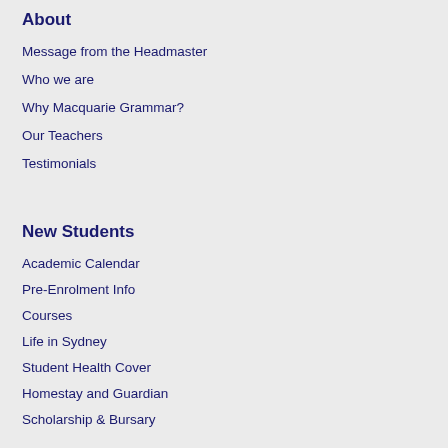About
Message from the Headmaster
Who we are
Why Macquarie Grammar?
Our Teachers
Testimonials
New Students
Academic Calendar
Pre-Enrolment Info
Courses
Life in Sydney
Student Health Cover
Homestay and Guardian
Scholarship & Bursary